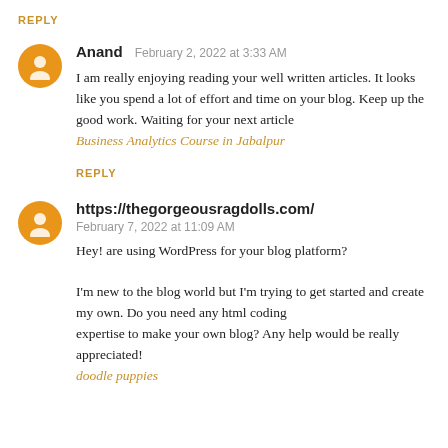REPLY
Anand  February 2, 2022 at 3:33 AM
I am really enjoying reading your well written articles. It looks like you spend a lot of effort and time on your blog. Keep up the good work. Waiting for your next article
Business Analytics Course in Jabalpur
REPLY
https://thegorgeousragdolls.com/  February 7, 2022 at 11:09 AM
Hey! are using WordPress for your blog platform?

I'm new to the blog world but I'm trying to get started and create my own. Do you need any html coding
expertise to make your own blog? Any help would be really appreciated!
doodle puppies